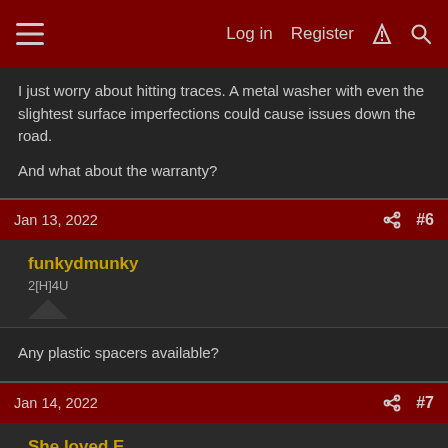Log in  Register
I just worry about hitting traces. A metal washer with even the slightest surface imperfections could cause issues down the road.

And what about the warranty?
Jan 13, 2022  #6
funkydmunky
2[H]4U
Any plastic spacers available?
Jan 14, 2022  #7
She loved E
Limp Gawd